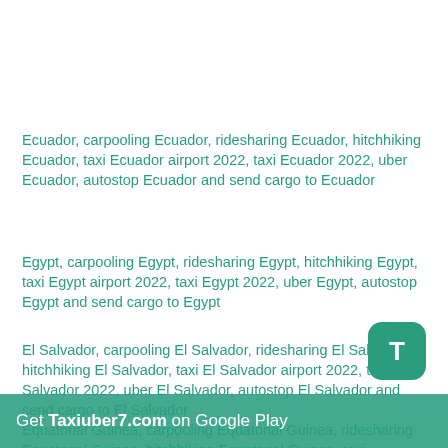Ecuador, carpooling Ecuador, ridesharing Ecuador, hitchhiking Ecuador, taxi Ecuador airport 2022, taxi Ecuador 2022, uber Ecuador, autostop Ecuador and send cargo to Ecuador
Egypt, carpooling Egypt, ridesharing Egypt, hitchhiking Egypt, taxi Egypt airport 2022, taxi Egypt 2022, uber Egypt, autostop Egypt and send cargo to Egypt
El Salvador, carpooling El Salvador, ridesharing El Salvador, hitchhiking El Salvador, taxi El Salvador airport 2022, taxi El Salvador 2022, uber El Salvador, autostop El Salvador and send cargo to El Salvador
Equatorial Guinea, carpooling Equatorial Guinea, ridesharing Equatorial Guinea, hitchhiking Equatorial Guinea, taxi Equatorial Guinea airport 2022, taxi Equatorial Guinea 2022, uber Equatorial Guinea, autostop Equatorial Guinea and send cargo to Equatorial Guinea
Get Taxiuber7.com on Google Play